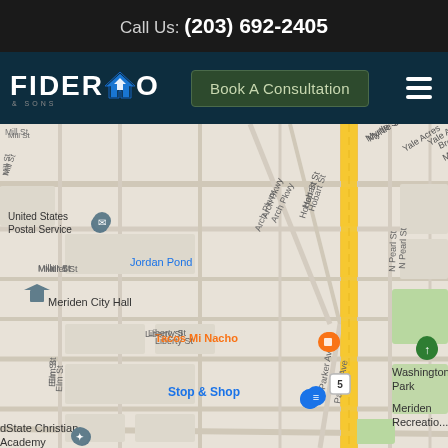Call Us: (203) 692-2405
[Figure (logo): Fiderio & Sons logo with house icon in blue and white on dark navy background]
Book A Consultation
[Figure (map): Google Maps view of Meriden, CT area showing streets including Arch Pkwy, Hobart St, Myrtle St, Yale Acres, Broadvale Rd, Miller St, Liberty St, Elm St, Parker Ave, Orient St, Pearl St, Clinton St, Murray St, E Main St. Landmarks shown: United States Postal Service, Jordan Pond, Meriden City Hall, Roger Sherman Elementary School, Meriden YMCA Headstart, Tacos Mi Nacho, Stop & Shop, dState Christian Academy, Washington Park, Meriden Recreation. Route 5 runs vertically through the map in yellow/gold.]